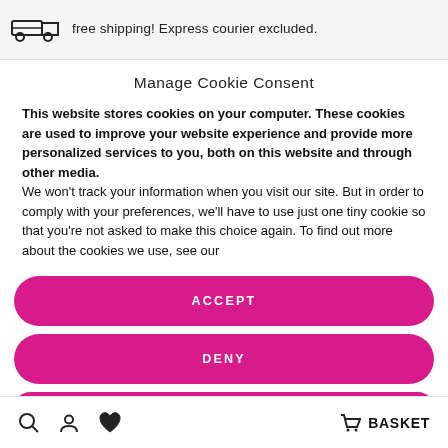free shipping! Express courier excluded.
Manage Cookie Consent
This website stores cookies on your computer. These cookies are used to improve your website experience and provide more personalized services to you, both on this website and through other media.
We won't track your information when you visit our site. But in order to comply with your preferences, we'll have to use just one tiny cookie so that you're not asked to make this choice again. To find out more about the cookies we use, see our
ACCEPT
DENY
PREFERENCES
BASKET